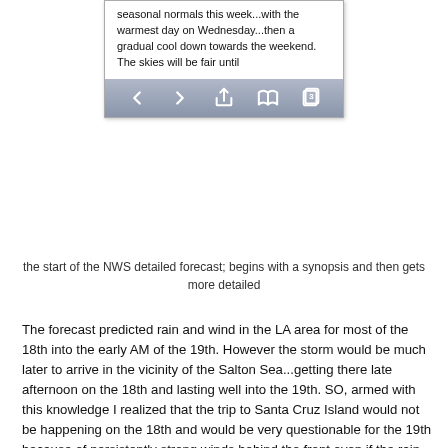[Figure (screenshot): Mobile browser screenshot showing partial weather forecast text and navigation toolbar with back, forward, share, bookmark, and tabs icons]
the start of the NWS detailed forecast; begins with a synopsis and then gets more detailed
The forecast predicted rain and wind in the LA area for most of the 18th into the early AM of the 19th. However the storm would be much later to arrive in the vicinity of the Salton Sea...getting there late afternoon on the 18th and lasting well into the 19th. SO, armed with this knowledge I realized that the trip to Santa Cruz Island would not be happening on the 18th and would be very questionable for the 19th because of persistently strong winds behind the front even if the rain ended early in the LA area.
Now I realized that my plans for the next 3 days would have to be seriously altered if I wanted to salvage my trip. Thanks to the detail of that forecast I pulled out the books and